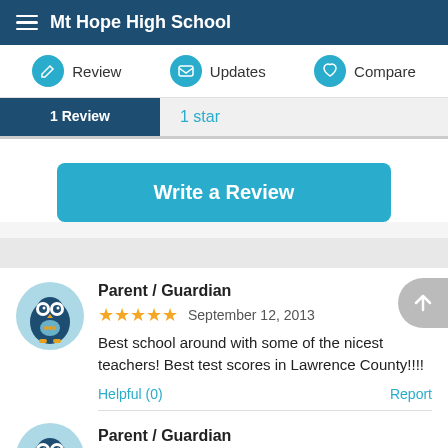Mt Hope High School
Review | Updates | Compare
1 Review | 1 star
Write a Review
Parent / Guardian
★★★★★ September 12, 2013
Best school around with some of the nicest teachers! Best test scores in Lawrence County!!!!
Helpful (0)  Report
Parent / Guardian
May 03, 2010